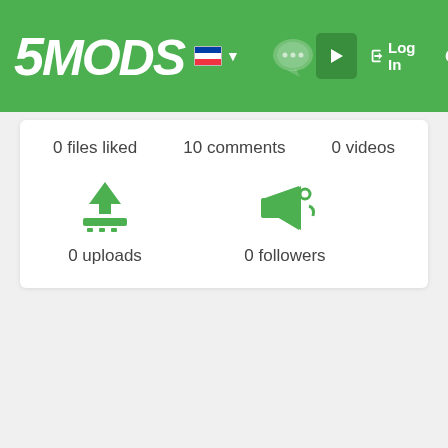5MODS navigation bar with logo, Slovenian flag, chat icon, Log In, dark mode, and search icons
0 files liked
10 comments
0 videos
[Figure (infographic): Upload icon (arrow up from platform) with label '0 uploads']
[Figure (infographic): Megaphone/followers icon with label '0 followers']